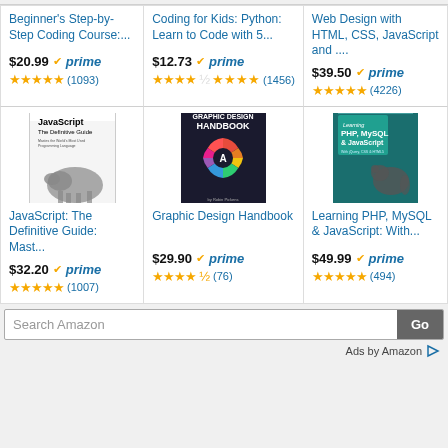Beginner's Step-by-Step Coding Course:...
Coding for Kids: Python: Learn to Code with 5...
Web Design with HTML, CSS, JavaScript and ...
[Figure (photo): JavaScript: The Definitive Guide book cover with rhino]
JavaScript: The Definitive Guide: Mast...
[Figure (photo): Graphic Design Handbook book cover with colorful circle]
Graphic Design Handbook
[Figure (photo): Learning PHP, MySQL & JavaScript book cover with animals]
Learning PHP, MySQL & JavaScript: With...
Search Amazon
Ads by Amazon